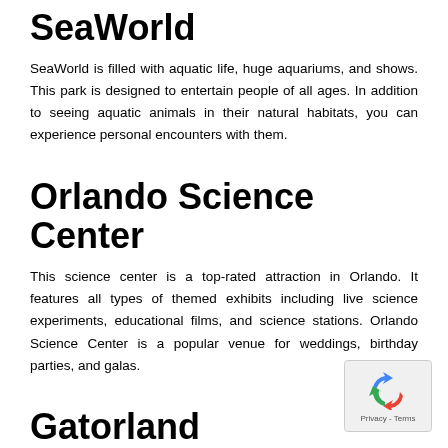SeaWorld
SeaWorld is filled with aquatic life, huge aquariums, and shows. This park is designed to entertain people of all ages. In addition to seeing aquatic animals in their natural habitats, you can experience personal encounters with them.
Orlando Science Center
This science center is a top-rated attraction in Orlando. It features all types of themed exhibits including live science experiments, educational films, and science stations. Orlando Science Center is a popular venue for weddings, birthday parties, and galas.
Gatorland